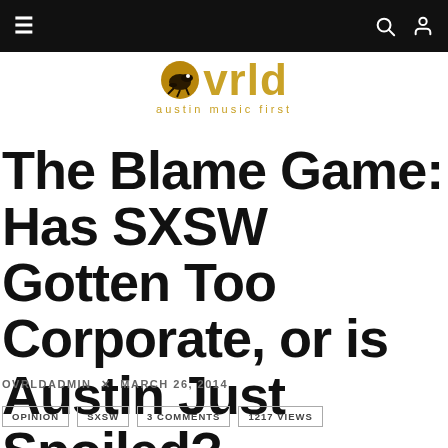ovrld austin music first — navigation bar
[Figure (logo): ovrld logo — armadillo icon with text 'ovrld' in gold and subtitle 'austin music first']
The Blame Game: Has SXSW Gotten Too Corporate, or is Austin Just Spoiled?
OVRLDADMIN × MARCH 26, 2014
OPINION
SXSW
3 COMMENTS
1217 VIEWS